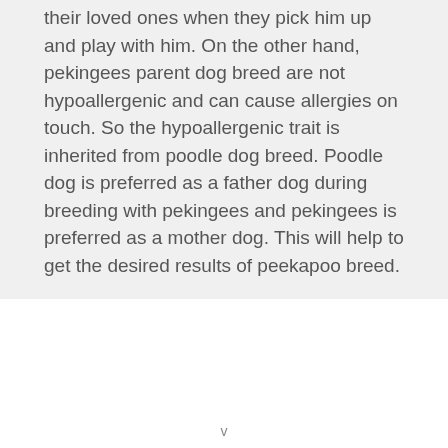their loved ones when they pick him up and play with him. On the other hand, pekingees parent dog breed are not hypoallergenic and can cause allergies on touch. So the hypoallergenic trait is inherited from poodle dog breed. Poodle dog is preferred as a father dog during breeding with pekingees and pekingees is preferred as a mother dog. This will help to get the desired results of peekapoo breed.
v